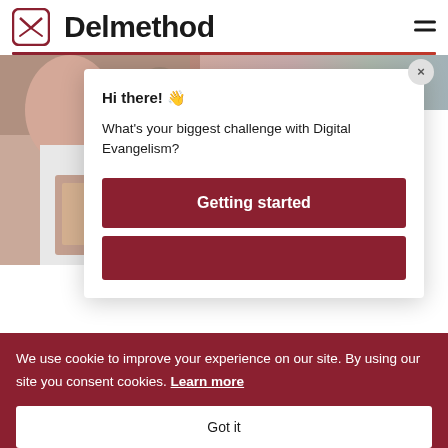[Figure (logo): Delmethod logo with red square icon containing stylized arrow/envelope shape and bold text 'Delmethod']
[Figure (photo): Background photo showing a person holding a smartphone, with other people visible in the background]
Hi there! 👋
What's your biggest challenge with Digital Evangelism?
Getting started
Socia...
We use cookie to improve your experience on our site. By using our site you consent cookies. Learn more
Got it